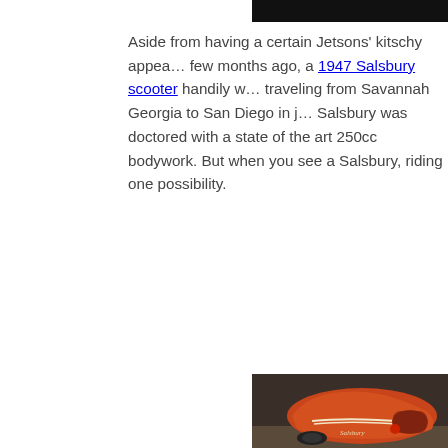[Figure (photo): Dark image strip at top right of page]
Aside from having a certain Jetsons' kitschy appea… few months ago, a 1947 Salsbury scooter handily w… traveling from Savannah Georgia to San Diego in j… Salsbury was doctored with a state of the art 250cc bodywork. But when you see a Salsbury, riding one possibility.
[Figure (photo): Photograph of a vintage orange Salsbury scooter in a garage, with other vehicles visible in the background. The scooter has a rounded red/orange body with cream stripe details and the Salsbury name written in script on the side.]